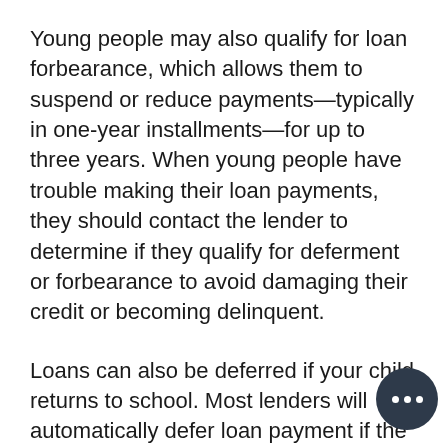Young people may also qualify for loan forbearance, which allows them to suspend or reduce payments—typically in one-year installments—for up to three years. When young people have trouble making their loan payments, they should contact the lender to determine if they qualify for deferment or forbearance to avoid damaging their credit or becoming delinquent.
Loans can also be deferred if your child returns to school. Most lenders will automatically defer loan payment if the student is enrolled at least half-time in a qualifying program, such as graduate school.